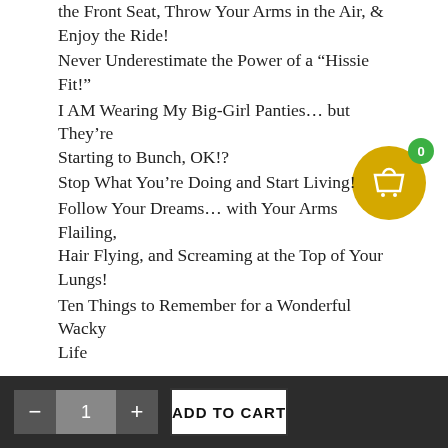the Front Seat, Throw Your Arms in the Air, & Enjoy the Ride!
Never Underestimate the Power of a “Hissie Fit!”
I AM Wearing My Big-Girl Panties… but They’re Starting to Bunch, OK!?
Stop What You’re Doing and Start Living!
Follow Your Dreams… with Your Arms Flailing, Hair Flying, and Screaming at the Top of Your Lungs!
Ten Things to Remember for a Wonderful Wacky Life
$9.99
In stock
- 1 + ADD TO CART